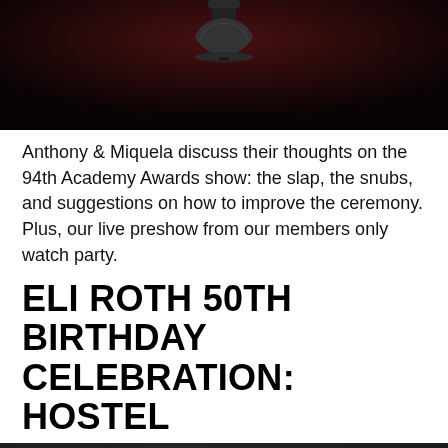[Figure (photo): Dark cinematic still image showing a lamp or bell-like object against a deep red/dark background]
Anthony & Miquela discuss their thoughts on the 94th Academy Awards show: the slap, the snubs, and suggestions on how to improve the ceremony. Plus, our live preshow from our members only watch party.
ELI ROTH 50TH BIRTHDAY CELEBRATION: HOSTEL
[Figure (photo): Movie still from Hostel showing a young man in a red t-shirt and an older man in what appears to be a torture/horror scene in a grimy basement setting]